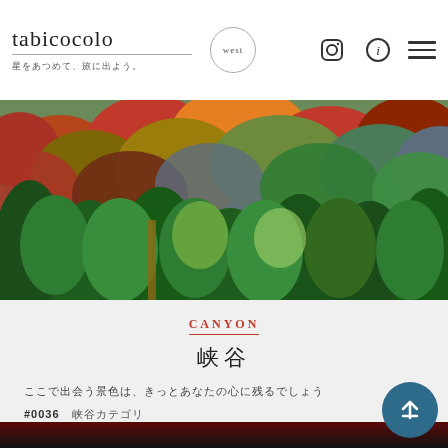tabicocolo west — 星をあつめて、旅に出よう。
[Figure (photo): Aerial view of a dense forested hillside with autumn foliage — green conifers in foreground, colorful red, orange, and yellow deciduous trees in background]
CANYON
峡谷
ここで出会う景色は、きっとあなたの心に残るでしょう
#0036　峡谷カテゴリ